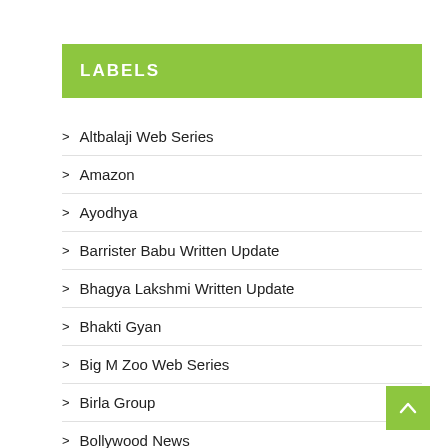LABELS
Altbalaji Web Series
Amazon
Ayodhya
Barrister Babu Written Update
Bhagya Lakshmi Written Update
Bhakti Gyan
Big M Zoo Web Series
Birla Group
Bollywood News
Boom Movies App
CAA